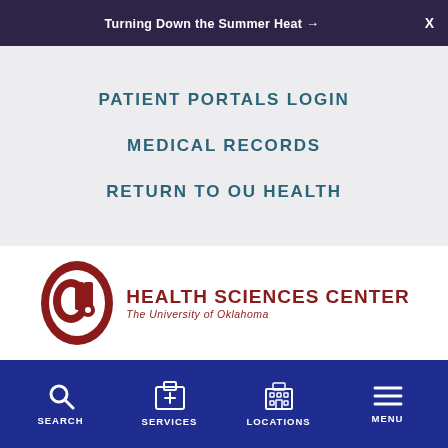Turning Down the Summer Heat →  X
PATIENT PORTALS LOGIN
MEDICAL RECORDS
RETURN TO OU HEALTH
[Figure (logo): OU Health Sciences Center – The University of Oklahoma logo with crimson OU interlocking letters emblem]
SEARCH   SERVICES   LOCATIONS   MENU